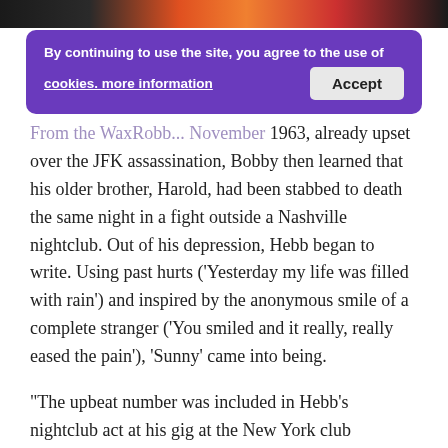[Figure (photo): Partial top image strip showing colorful photo content]
By continuing to use the site, you agree to the use of cookies. more information [Accept button]
From the WaxRobb... November 1963, already upset over the JFK assassination, Bobby then learned that his older brother, Harold, had been stabbed to death the same night in a fight outside a Nashville nightclub. Out of his depression, Hebb began to write. Using past hurts ('Yesterday my life was filled with rain') and inspired by the anonymous smile of a complete stranger ('You smiled and it really, really eased the pain'), 'Sunny' came into being.

"The upbeat number was included in Hebb's nightclub act at his gig at the New York club Brandy's. The audiences responded positively as did record producer Jerry Ross ('I'm Gonna Make You Love Me'...